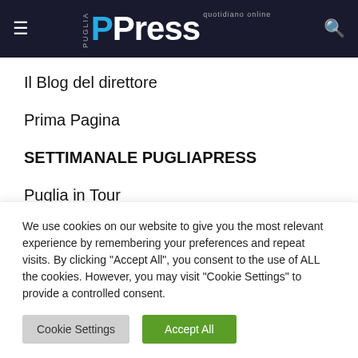PPress quotidiano online
Il Blog del direttore
Prima Pagina
SETTIMANALE PUGLIAPRESS
Puglia in Tour
Parole più utilizzate
ambiente  arresti  arresto  bari  Bari Cronaca
We use cookies on our website to give you the most relevant experience by remembering your preferences and repeat visits. By clicking "Accept All", you consent to the use of ALL the cookies. However, you may visit "Cookie Settings" to provide a controlled consent.